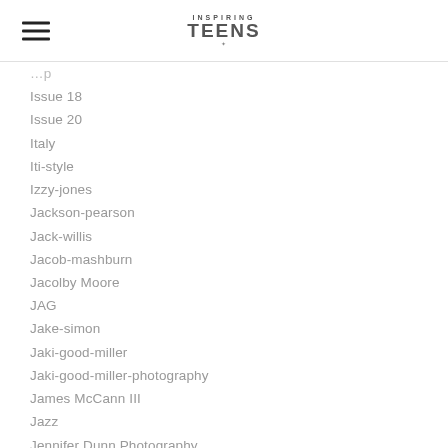Inspiring Teens [logo]
Issue 18
Issue 20
Italy
Iti-style
Izzy-jones
Jackson-pearson
Jack-willis
Jacob-mashburn
Jacolby Moore
JAG
Jake-simon
Jaki-good-miller
Jaki-good-miller-photography
James McCann III
Jazz
Jennifer Dunn Photography
Jessica-robertson-photographic-artistry
Jillian-cardinal